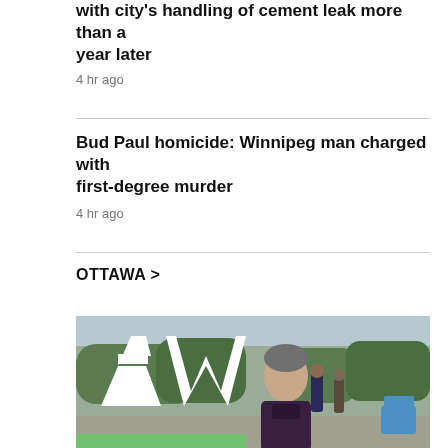with city's handling of cement leak more than a year later
4 hr ago
Bud Paul homicide: Winnipeg man charged with first-degree murder
4 hr ago
OTTAWA >
[Figure (photo): A man with short grey hair wearing a dark purple polo shirt is interviewed outdoors in what appears to be Ottawa, with large white letters 'AW' visible behind him, trees, buildings, pedestrians, and a blue Adirondack chair in the background.]